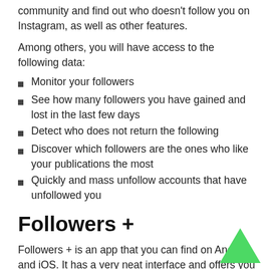community and find out who doesn't follow you on Instagram, as well as other features.
Among others, you will have access to the following data:
Monitor your followers
See how many followers you have gained and lost in the last few days
Detect who does not return the following
Discover which followers are the ones who like your publications the most
Quickly and mass unfollow accounts that have unfollowed you
Followers +
Followers + is an app that you can find on Android and iOS. It has a very neat interface and offers you various information about your Instagram